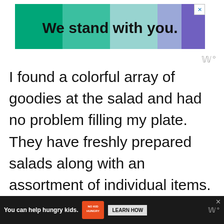[Figure (other): Top banner advertisement with colorful gradient blocks (teal, light teal, light purple, purple) and bold text 'We stand with you.' with a close X button in the corner]
[Figure (logo): Wordmark logo 'w°' in light gray on right side]
I found a colorful array of goodies at the salad and had no problem filling my plate. They have freshly prepared salads along with an assortment of individual items. They partner with California farmers for seasonal, locally grown produce. Each person can ch                                               od.
[Figure (other): Bottom banner advertisement with dark background: 'You can help hungry kids.' with No Kid Hungry logo and 'LEARN HOW' button, close X button, and 'w°' logo]